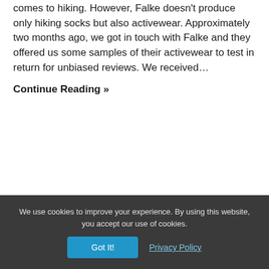comes to hiking. However, Falke doesn't produce only hiking socks but also activewear. Approximately two months ago, we got in touch with Falke and they offered us some samples of their activewear to test in return for unbiased reviews. We received…
Continue Reading »
We use cookies to improve your experience. By using this website, you accept our use of cookies. Got It! Privacy Policy